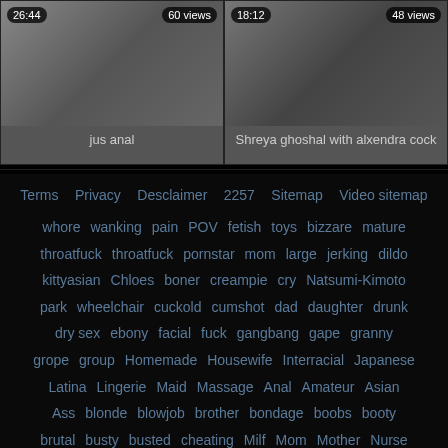[Figure (screenshot): Video thumbnail left: duration 26:44, 60 views, title 'jus anal']
[Figure (screenshot): Video thumbnail right: duration 18:12, 48 views, title 'Shreya ghoshal with alxendra cock']
Terms  Privacy  Desclaimer  2257  Sitemap  Video sitemap
whore  wanking  pain  POV  fetish  toys  bizzare  mature
throatfuck  throatfuck  pornstar  mom  large  jerking  dildo
kittyasian  Chloes  boner  creampie  cry  Natsumi-Kimoto
park  wheelchair  cuckold  cumshot  dad  daughter  drunk
dry sex  ebony  facial  fuck  gangbang  gape  granny
grope  group  Homemade  Housewife  Interracial  Japanese
Latina  Lingerie  Maid  Massage  Anal  Amateur  Asian
Ass  blonde  blowjob  brother  bondage  boobs  booty
brutal  busty  busted  cheating  Milf  Mom  Mother  Nurse
Nylons  Outdoor  Ropes  Rough  Scared  Sex  Sex Tape
Sister  Sleeping  Struggle  Teen  Tits